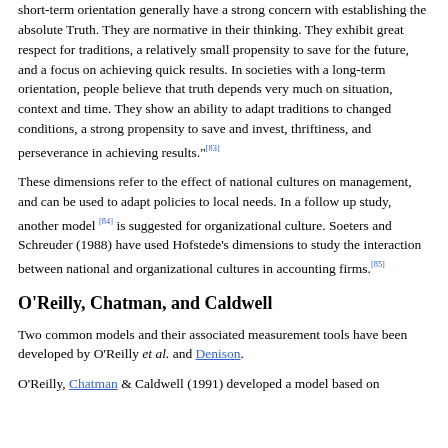short-term orientation generally have a strong concern with establishing the absolute Truth. They are normative in their thinking. They exhibit great respect for traditions, a relatively small propensity to save for the future, and a focus on achieving quick results. In societies with a long-term orientation, people believe that truth depends very much on situation, context and time. They show an ability to adapt traditions to changed conditions, a strong propensity to save and invest, thriftiness, and perseverance in achieving results."[83]
These dimensions refer to the effect of national cultures on management, and can be used to adapt policies to local needs. In a follow up study, another model [84] is suggested for organizational culture. Soeters and Schreuder (1988) have used Hofstede's dimensions to study the interaction between national and organizational cultures in accounting firms.[85]
O'Reilly, Chatman, and Caldwell
Two common models and their associated measurement tools have been developed by O'Reilly et al. and Denison.
O'Reilly, Chatman & Caldwell (1991) developed a model based on the belief that...